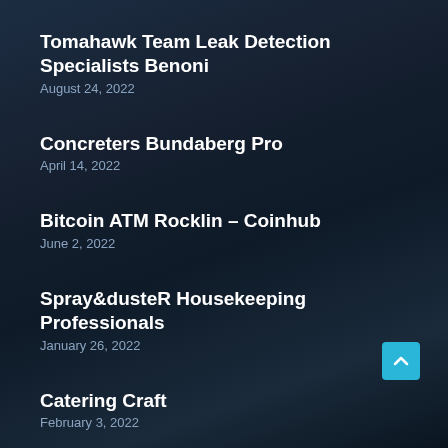Tomahawk Team Leak Detection Specialists Benoni
August 24, 2022
Concreters Bundaberg Pro
April 14, 2022
Bitcoin ATM Rocklin – Coinhub
June 2, 2022
Spray&dusteR Housekeeping Professionals
January 26, 2022
Catering Craft
February 3, 2022